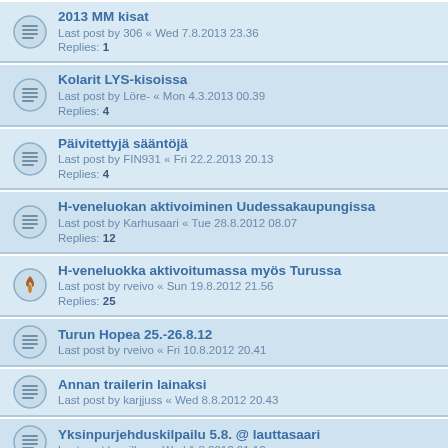2013 MM kisat
Last post by 306 « Wed 7.8.2013 23.36
Replies: 1
Kolarit LYS-kisoissa
Last post by Löre- « Mon 4.3.2013 00.39
Replies: 4
Päivitettyjä sääntöjä
Last post by FIN931 « Fri 22.2.2013 20.13
Replies: 4
H-veneluokan aktivoiminen Uudessakaupungissa
Last post by Karhusaari « Tue 28.8.2012 08.07
Replies: 12
H-veneluokka aktivoitumassa myös Turussa
Last post by rveivo « Sun 19.8.2012 21.56
Replies: 25
Turun Hopea 25.-26.8.12
Last post by rveivo « Fri 10.8.2012 20.41
Annan trailerin lainaksi
Last post by karjjuss « Wed 8.8.2012 20.43
Yksinpurjehduskilpailu 5.8. @ lauttasaari
Last post by villee « Wed 1.8.2012 01.12
Päijännepurjehdus 2012
Last post by remonttimake « Wed 25.7.2012 10.23
Replies: 7
Katariinan kesä 2012 vol 2 : Tanskan mestaruuskisat
Last post by FIN931 « Sun 15.7.2012 12.54
Replies: 2